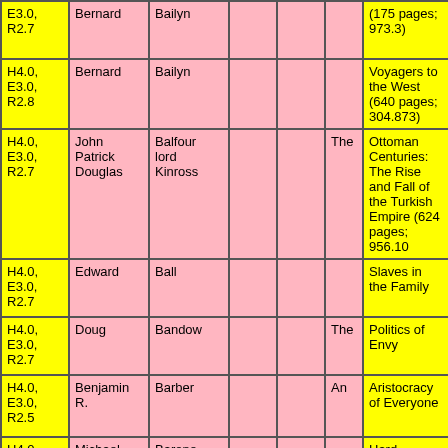| Code | First Name | Last Name |  |  | Article | Title/Info |
| --- | --- | --- | --- | --- | --- | --- |
| E3.0, R2.7 | Bernard | Bailyn |  |  |  | (175 pages; 973.3) |
| H4.0, E3.0, R2.8 | Bernard | Bailyn |  |  |  | Voyagers to the West (640 pages; 304.873) |
| H4.0, E3.0, R2.7 | John Patrick Douglas | Balfour lord Kinross |  |  | The | Ottoman Centuries: The Rise and Fall of the Turkish Empire (624 pages; 956.10 |
| H4.0, E3.0, R2.7 | Edward | Ball |  |  |  | Slaves in the Family |
| H4.0, E3.0, R2.7 | Doug | Bandow |  |  | The | Politics of Envy |
| H4.0, E3.0, R2.5 | Benjamin R. | Barber |  |  | An | Aristocracy of Everyone |
| H4.0, E3.0, | Michael | Barone |  |  |  | Hard America, Soft America, Competition |